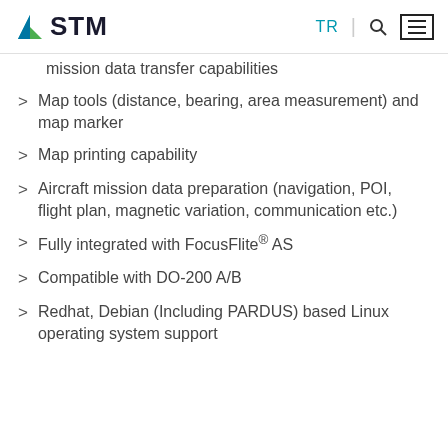STM | TR | Search | Menu
mission data transfer capabilities
Map tools (distance, bearing, area measurement) and map marker
Map printing capability
Aircraft mission data preparation (navigation, POI, flight plan, magnetic variation, communication etc.)
Fully integrated with FocusFlite® AS
Compatible with DO-200 A/B
Redhat, Debian (Including PARDUS) based Linux operating system support